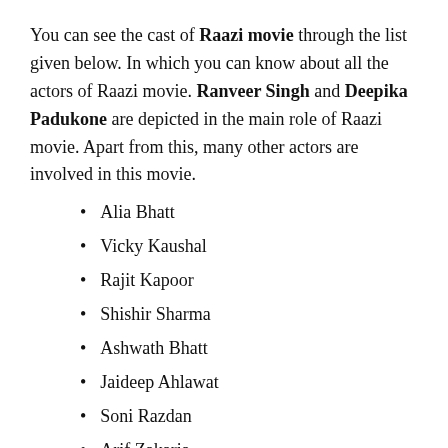You can see the cast of Raazi movie through the list given below. In which you can know about all the actors of Raazi movie. Ranveer Singh and Deepika Padukone are depicted in the main role of Raazi movie. Apart from this, many other actors are involved in this movie.
Alia Bhatt
Vicky Kaushal
Rajit Kapoor
Shishir Sharma
Ashwath Bhatt
Jaideep Ahlawat
Soni Razdan
Arif Zakaria
Amruta Khanvilkar